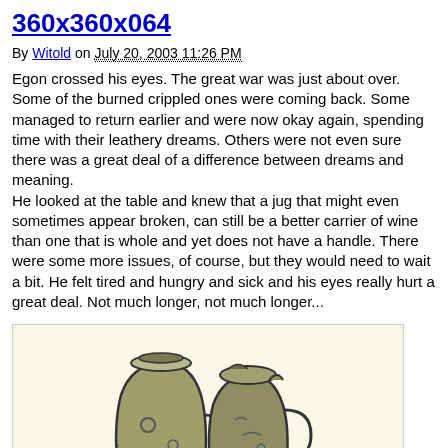360x360x064
By Witold on July 20, 2003 11:26 PM
Egon crossed his eyes. The great war was just about over. Some of the burned crippled ones were coming back. Some managed to return earlier and were now okay again, spending time with their leathery dreams. Others were not even sure there was a great deal of a difference between dreams and meaning.
He looked at the table and knew that a jug that might even sometimes appear broken, can still be a better carrier of wine than one that is whole and yet does not have a handle. There were some more issues, of course, but they would need to wait a bit. He felt tired and hungry and sick and his eyes really hurt a great deal. Not much longer, not much longer...
[Figure (illustration): Illustration of two ceramic jugs or mugs with handles, drawn in a cartoon style with olive/grey-green coloring on a cream background]